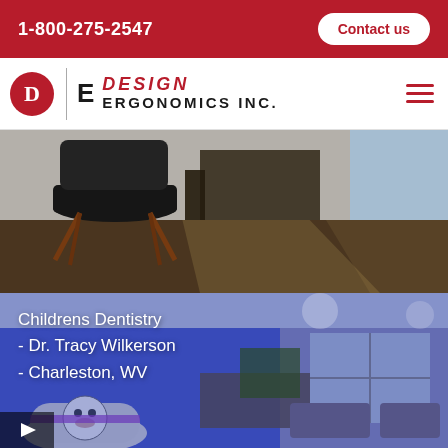1-800-275-2547
Contact us
[Figure (logo): Design Ergonomics Inc. logo with red circle D, vertical divider, E letter, and italic red DESIGN / bold ERGONOMICS INC. text]
[Figure (photo): Interior office or waiting room photo showing a modern chair with wooden legs on hardwood floor, desk or partition in background, large window with natural light]
[Figure (photo): Childrens dentistry waiting room with blue-tinted overlay. Text overlay reads: Childrens Dentistry - Dr. Tracy Wilkerson - Charleston, WV. Room shows Thomas the Tank Engine toy, colorful seating area, chalkboard, and reception area.]
Childrens Dentistry
- Dr. Tracy Wilkerson
- Charleston, WV